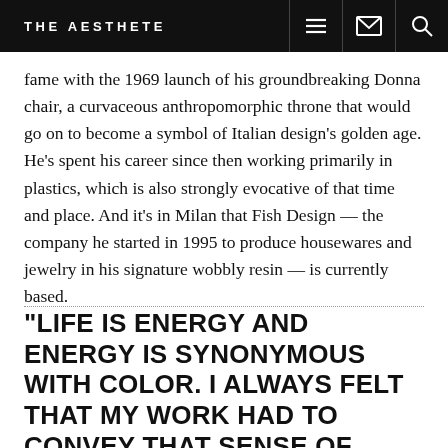THE AESTHETE
fame with the 1969 launch of his groundbreaking Donna chair, a curvaceous anthropomorphic throne that would go on to become a symbol of Italian design's golden age. He's spent his career since then working primarily in plastics, which is also strongly evocative of that time and place. And it's in Milan that Fish Design — the company he started in 1995 to produce housewares and jewelry in his signature wobbly resin — is currently based.
"LIFE IS ENERGY AND ENERGY IS SYNONYMOUS WITH COLOR. I ALWAYS FELT THAT MY WORK HAD TO CONVEY THAT SENSE OF JOY."